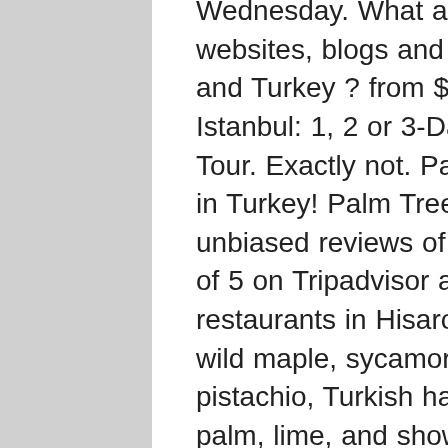Wednesday. What are the useful websites, blogs and videos on Istanbul and Turkey ? from $60.22* Best of Istanbul: 1, 2 or 3-Day Private Guided Tour. Exactly not. Palm Tree: Best Steak in Turkey! Palm Tree, Hisaronu: See 994 unbiased reviews of Palm Tree, rated 5 of 5 on Tripadvisor and ranked #6 of 71 restaurants in Hisaronu. Olive trees. The wild maple, sycamore, bay laurel, pistachio, Turkish hazel, Cretan date palm, lime, and showy Judas trees are all indigenous to the Anatolian plateau.Turkey's coasts are lush with vegetation. We planted several varieties of palms at my daughter's new home recently. Image of color, island, tree - 31322762 palm tree translate: palmiye ağacı. The port in Side. The second tree ( I guess it's